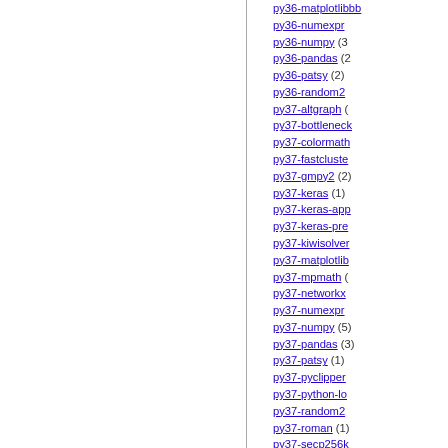py36-matplotlibbb
py36-numexpr
py36-numpy (3)
py36-pandas (2)
py36-patsy (2)
py36-random2
py37-altgraph (
py37-bottleneck
py37-colormath
py37-fastcluster
py37-gmpy2 (2)
py37-keras (1)
py37-keras-app
py37-keras-pre
py37-kiwisolver
py37-matplotlib
py37-mpmath (
py37-networkx
py37-numexpr
py37-numpy (5)
py37-pandas (3)
py37-patsy (1)
py37-pyclipper
py37-python-lo
py37-random2
py37-roman (1)
py37-secp256k
py37-sympy (1)
py37-theano (1)
py38-PuLP (1)
py38-PyWavele
py38-affine (1)
py38-altgraph (
py38-amply (1)
py38-bottleneck
py38-fastcluster
py38-gmpy (3)
py38-gmpy2 (3)
py38-keras (3)
py38-keras-app
py38-keras-pre